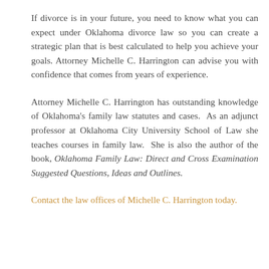If divorce is in your future, you need to know what you can expect under Oklahoma divorce law so you can create a strategic plan that is best calculated to help you achieve your goals. Attorney Michelle C. Harrington can advise you with confidence that comes from years of experience.
Attorney Michelle C. Harrington has outstanding knowledge of Oklahoma's family law statutes and cases. As an adjunct professor at Oklahoma City University School of Law she teaches courses in family law. She is also the author of the book, Oklahoma Family Law: Direct and Cross Examination Suggested Questions, Ideas and Outlines.
Contact the law offices of Michelle C. Harrington today.